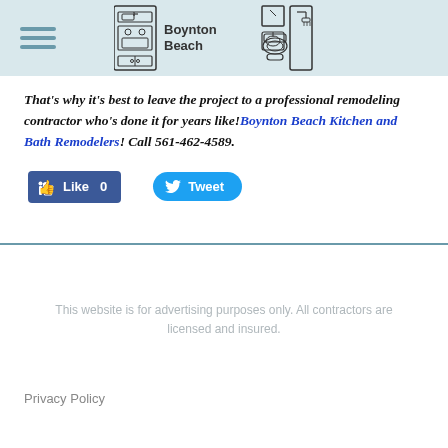[Figure (logo): Boynton Beach Kitchen and Bath logo with kitchen and bathroom icons]
That's why it's best to leave the project to a professional remodeling contractor who's done it for years like! Boynton Beach Kitchen and Bath Remodelers! Call 561-462-4589.
[Figure (infographic): Facebook Like button (Like 0) and Twitter Tweet button]
This website is for advertising purposes only. All contractors are licensed and insured.
Privacy Policy